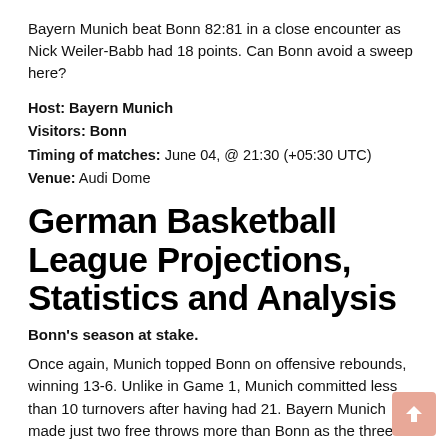Bayern Munich beat Bonn 82:81 in a close encounter as Nick Weiler-Babb had 18 points. Can Bonn avoid a sweep here?
Host: Bayern Munich
Visitors: Bonn
Timing of matches: June 04, @ 21:30 (+05:30 UTC)
Venue: Audi Dome
German Basketball League Projections, Statistics and Analysis
Bonn's season at stake.
Once again, Munich topped Bonn on offensive rebounds, winning 13-6. Unlike in Game 1, Munich committed less than 10 turnovers after having had 21. Bayern Munich made just two free throws more than Bonn as the three-point advantage